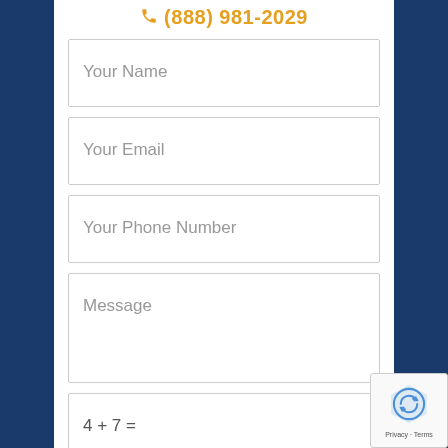(888) 981-2029
Your Name
Your Email
Your Phone Number
Message
4 + 7 =